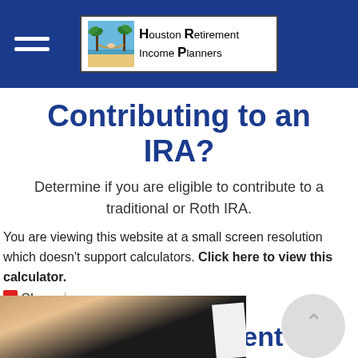Houston Retirement Income Planners
Contributing to an IRA?
Determine if you are eligible to contribute to a traditional or Roth IRA.
You are viewing this website at a small screen resolution which doesn't support calculators. Click here to view this calculator.
Share
Related Content
[Figure (photo): Partial photo at bottom of page showing a person, partially cropped]